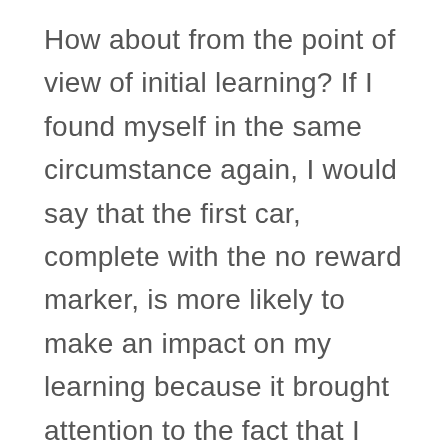How about from the point of view of initial learning? If I found myself in the same circumstance again, I would say that the first car, complete with the no reward marker, is more likely to make an impact on my learning because it brought attention to the fact that I made an error. Of course, that is only useful if I am going to be in that situation often enough that I actually need to learn it AND assuming I have enough information to make a better